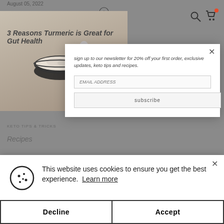KETO HANA
August 05, 2022
[Figure (photo): Bowl of food with spoon on light background]
3 Reasons Turmeric is Great for Gut Health
sign up to our newsletter for 20% off your first order, exclusive updates, keto tips and recipes.
subscribe
This website uses cookies to ensure you get the best experience.  Learn more
Decline
Accept